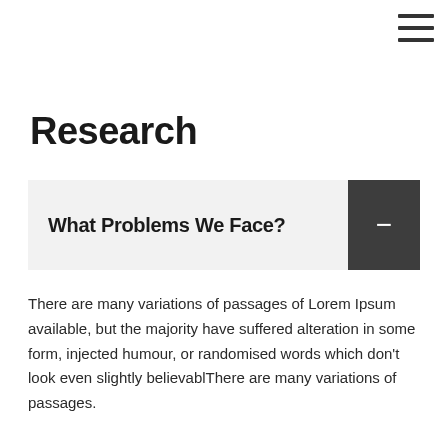[Figure (other): Hamburger menu icon (three horizontal lines) in the top-right corner]
Research
What Problems We Face?
There are many variations of passages of Lorem Ipsum available, but the majority have suffered alteration in some form, injected humour, or randomised words which don't look even slightly believablThere are many variations of passages.